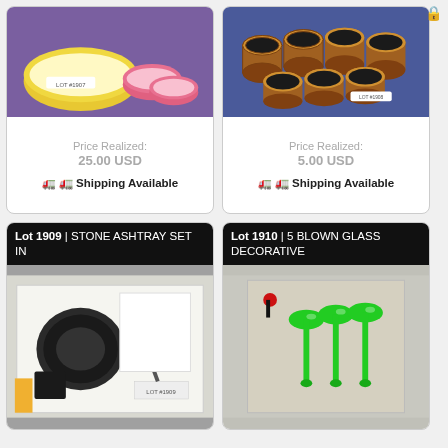[Figure (photo): Yellow and pink bowls on purple cloth]
Price Realized:
25.00 USD
🚛 Shipping Available
[Figure (photo): Collection of mugs on blue/purple background]
Price Realized:
5.00 USD
🚛 Shipping Available
Lot 1909 | STONE ASHTRAY SET IN
[Figure (photo): Stone ashtray set in box on white background]
Lot 1910 | 5 BLOWN GLASS DECORATIVE
[Figure (photo): Green blown glass decorative items in box]